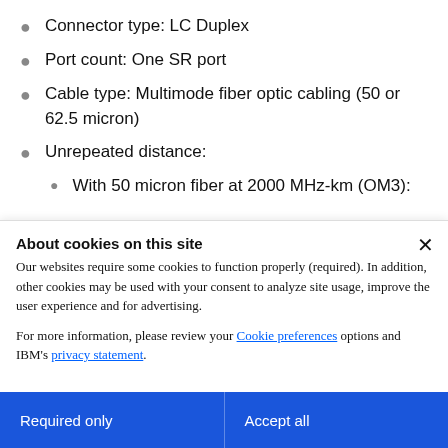Connector type: LC Duplex
Port count: One SR port
Cable type: Multimode fiber optic cabling (50 or 62.5 micron)
Unrepeated distance:
With 50 micron fiber at 2000 MHz-km (OM3):
About cookies on this site
Our websites require some cookies to function properly (required). In addition, other cookies may be used with your consent to analyze site usage, improve the user experience and for advertising.

For more information, please review your Cookie preferences options and IBM's privacy statement.
Required only
Accept all